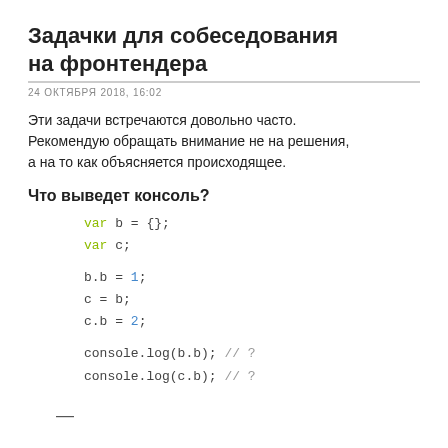Задачки для собеседования на фронтендера
24 ОКТЯБРЯ 2018, 16:02
Эти задачи встречаются довольно часто. Рекомендую обращать внимание не на решения, а на то как объясняется происходящее.
Что выведет консоль?
var b = {};
var c;

b.b = 1;
c = b;
c.b = 2;

console.log(b.b); // ?
console.log(c.b); // ?
—
var i = 10;